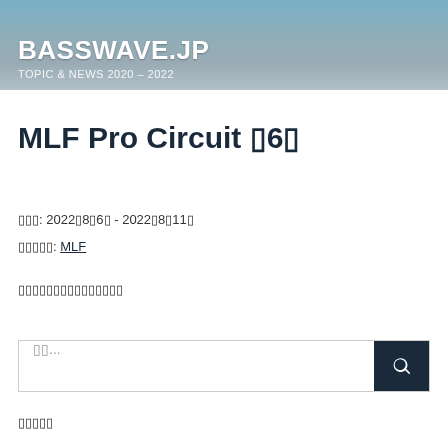BASSWAVE.JP
TOPIC & NEWS 2020 – 2022
MLF Pro Circuit ▯6▯
▯▯▯: 2022▯8▯6▯ - 2022▯8▯11▯
▯▯▯▯▯: MLF
▯▯▯▯▯▯▯▯▯▯▯▯▯▯▯
▯▯...
▯▯▯▯▯